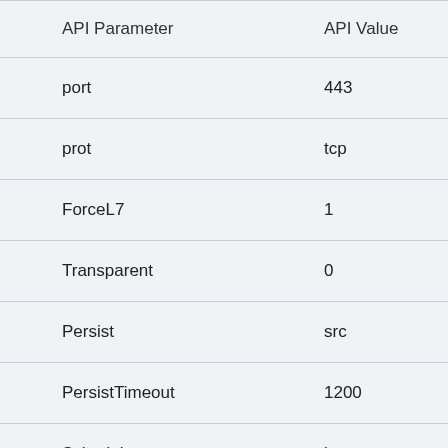| API Parameter | API Value |
| --- | --- |
| port | 443 |
| prot | tcp |
| ForceL7 | 1 |
| Transparent | 0 |
| Persist | src |
| PersistTimeout | 1200 |
| Schedule | lc |
| Idletime | 1800 |